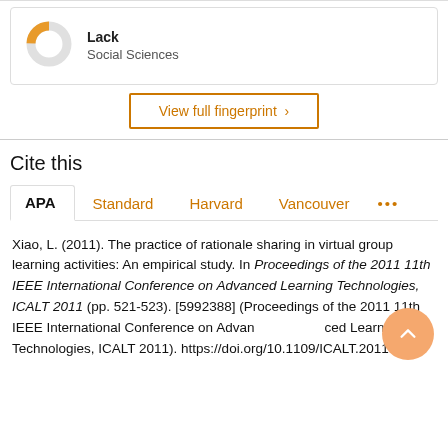[Figure (donut-chart): Small donut chart with orange segment, associated with Social Sciences category]
Lack
Social Sciences
View full fingerprint ›
Cite this
APA   Standard   Harvard   Vancouver   •••
Xiao, L. (2011). The practice of rationale sharing in virtual group learning activities: An empirical study. In Proceedings of the 2011 11th IEEE International Conference on Advanced Learning Technologies, ICALT 2011 (pp. 521-523). [5992388] (Proceedings of the 2011 11th IEEE International Conference on Advanced Learning Technologies, ICALT 2011). https://doi.org/10.1109/ICALT.2011.160